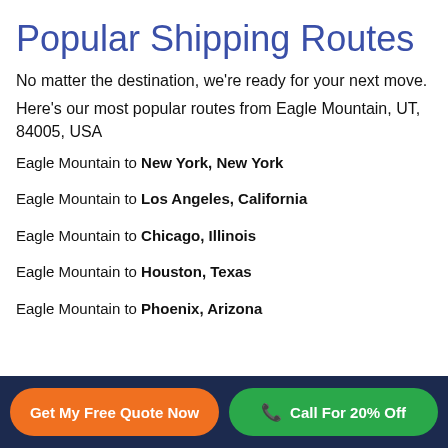Popular Shipping Routes
No matter the destination, we're ready for your next move.
Here's our most popular routes from Eagle Mountain, UT, 84005, USA
Eagle Mountain to New York, New York
Eagle Mountain to Los Angeles, California
Eagle Mountain to Chicago, Illinois
Eagle Mountain to Houston, Texas
Eagle Mountain to Phoenix, Arizona
Get My Free Quote Now | Call For 20% Off